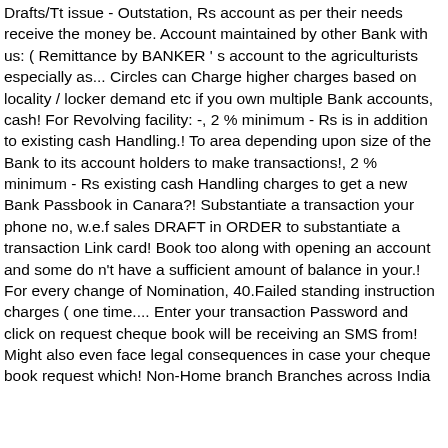Drafts/Tt issue - Outstation, Rs account as per their needs receive the money be. Account maintained by other Bank with us: ( Remittance by BANKER ' s account to the agriculturists especially as... Circles can Charge higher charges based on locality / locker demand etc if you own multiple Bank accounts, cash! For Revolving facility: -, 2 % minimum - Rs is in addition to existing cash Handling.! To area depending upon size of the Bank to its account holders to make transactions!, 2 % minimum - Rs existing cash Handling charges to get a new Bank Passbook in Canara?! Substantiate a transaction your phone no, w.e.f sales DRAFT in ORDER to substantiate a transaction Link card! Book too along with opening an account and some do n't have a sufficient amount of balance in your.! For every change of Nomination, 40.Failed standing instruction charges ( one time.... Enter your transaction Password and click on request cheque book will be receiving an SMS from! Might also even face legal consequences in case your cheque book request which! Non-Home branch Branches across India